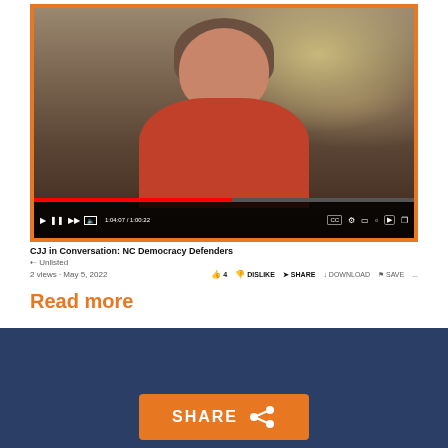[Figure (screenshot): Screenshot of a YouTube video player showing a woman with gray hair wearing a red shirt, speaking. The video is titled 'CJJ in Conversation: NC Democracy Defenders' by Unlisted, with 2 views, May 5, 2022. YouTube controls show timestamp 1:04:07 / 1:00:22.]
Read more
Posted by Abby Lublin May 02, 2022 5:07 PM
SHARE